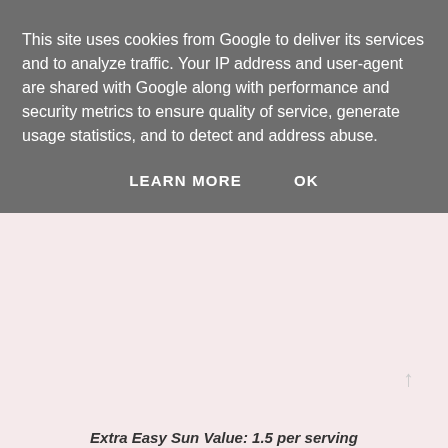This site uses cookies from Google to deliver its services and to analyze traffic. Your IP address and user-agent are shared with Google along with performance and security metrics to ensure quality of service, generate usage statistics, and to detect and address abuse.
LEARN MORE    OK
[Figure (other): Light pink/blush background content area, mostly blank, with a small upward arrow indicator on the right side]
Extra Easy Sun Value: 1.5 per serving